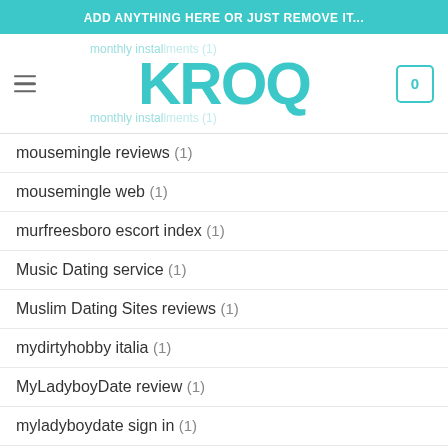ADD ANYTHING HERE OR JUST REMOVE IT...
[Figure (logo): KROQ logo in teal with hamburger menu icon on left and shopping cart with 0 on right. Monthly installments text partially visible behind logo.]
mousemingle reviews (1)
mousemingle web (1)
murfreesboro escort index (1)
Music Dating service (1)
Muslim Dating Sites reviews (1)
mydirtyhobby italia (1)
MyLadyboyDate review (1)
myladyboydate sign in (1)
mytranssexualdate de review (1)